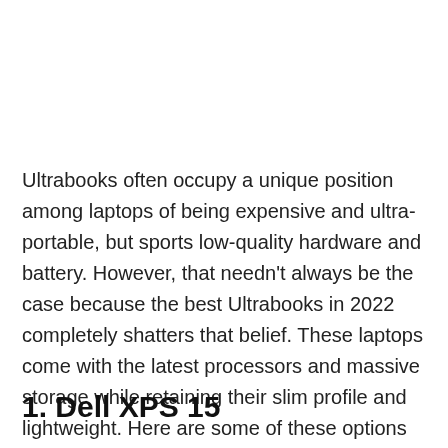Ultrabooks often occupy a unique position among laptops of being expensive and ultra-portable, but sports low-quality hardware and battery. However, that needn't always be the case because the best Ultrabooks in 2022 completely shatters that belief. These laptops come with the latest processors and massive storage while retaining their slim profile and lightweight. Here are some of these options that get you the most value out of your dough.
1. Dell XPS 15